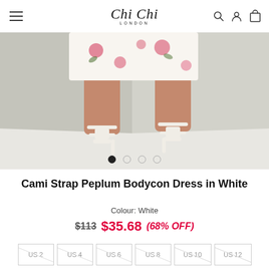Chi Chi London — navigation header with hamburger menu, logo, search, account, and cart icons
[Figure (photo): Fashion product photo showing lower half of a female model wearing a white floral dress with white strappy heeled sandals, photographed in a studio corner setting]
Cami Strap Peplum Bodycon Dress in White
Colour: White
$113  $35.68 (68% OFF)
US 2
US 4
US 6
US 8
US 10
US 12